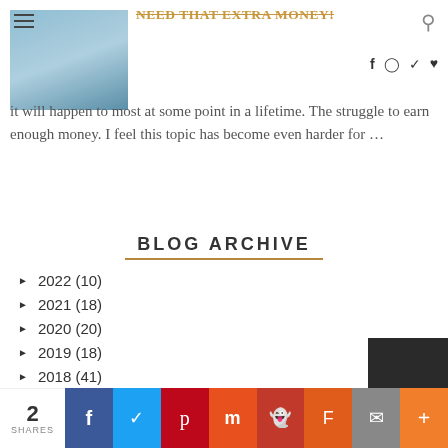NEED THAT EXTRA MONEY!
it will happen to most at some point in a lifetime. The struggle to earn enough money. I feel this topic has become even harder for ...
BLOG ARCHIVE
► 2022 (10)
► 2021 (18)
► 2020 (20)
► 2019 (18)
► 2018 (41)
► 2017 (19)
► 2016 (55)
▼ 2015 (25)